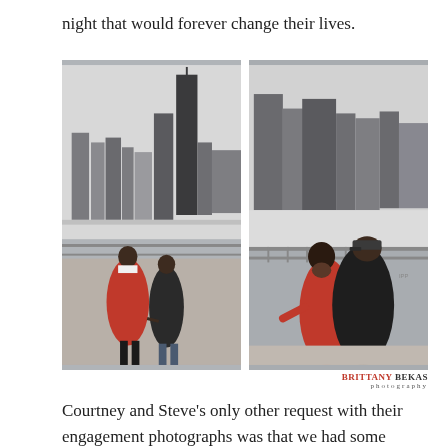night that would forever change their lives.
[Figure (photo): Two engagement photos side by side of Courtney and Steve in front of the Chicago skyline. Left photo: couple holding hands walking, woman in red coat, man in dark clothing. Right photo: couple embracing and smiling at the camera by a railing with frozen water and skyline behind them.]
BRITTANY BEKAS photography
Courtney and Steve’s only other request with their engagement photographs was that we had some Chicago skyline photos, so I suggested one